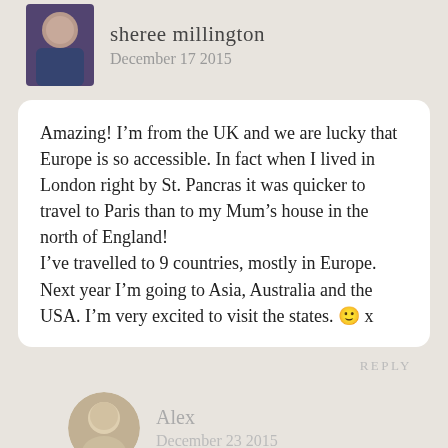sheree millington
December 17 2015
Amazing! I’m from the UK and we are lucky that Europe is so accessible. In fact when I lived in London right by St. Pancras it was quicker to travel to Paris than to my Mum’s house in the north of England!
I’ve travelled to 9 countries, mostly in Europe. Next year I’m going to Asia, Australia and the USA. I’m very excited to visit the states. 🙂 x
REPLY
Alex
December 23 2015